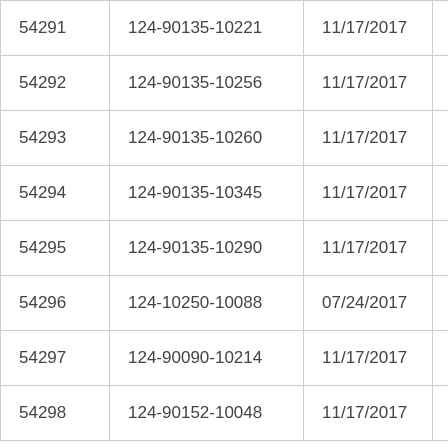| 54291 | 124-90135-10221 | 11/17/2017 | In Pa |
| 54292 | 124-90135-10256 | 11/17/2017 | In Fu |
| 54293 | 124-90135-10260 | 11/17/2017 | In Fu |
| 54294 | 124-90135-10345 | 11/17/2017 | In Fu |
| 54295 | 124-90135-10290 | 11/17/2017 | In Pa |
| 54296 | 124-10250-10088 | 07/24/2017 | In Pa |
| 54297 | 124-90090-10214 | 11/17/2017 | In Pa |
| 54298 | 124-90152-10048 | 11/17/2017 | In Fu |